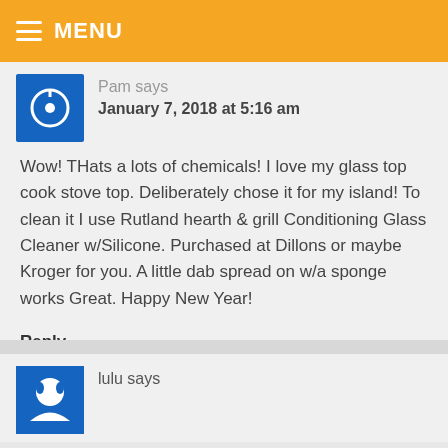MENU
Pam says
January 7, 2018 at 5:16 am
Wow! THats a lots of chemicals! I love my glass top cook stove top. Deliberately chose it for my island! To clean it I use Rutland hearth & grill Conditioning Glass Cleaner w/Silicone. Purchased at Dillons or maybe Kroger for you. A little dab spread on w/a sponge works Great. Happy New Year!
Reply
lulu says